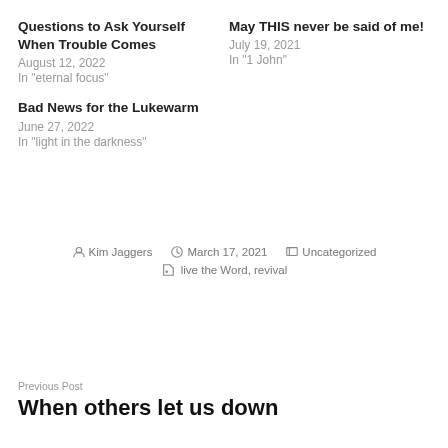Questions to Ask Yourself When Trouble Comes
August 12, 2022
In "eternal focus"
May THIS never be said of me!
July 19, 2021
In "1 John"
Bad News for the Lukewarm
June 27, 2022
In "light in the darkness"
Kim Jaggers   March 17, 2021   Uncategorized   live the Word, revival
Previous Post
When others let us down